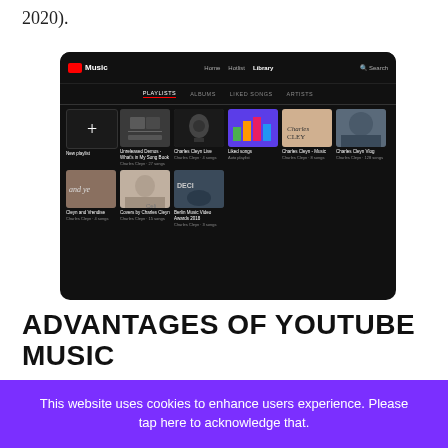2020).
[Figure (screenshot): YouTube Music library screenshot showing playlists grid with two rows of album/playlist thumbnails in dark mode interface]
ADVANTAGES OF YOUTUBE MUSIC
This website uses cookies to enhance users experience. Please tap here to acknowledge that.
below.